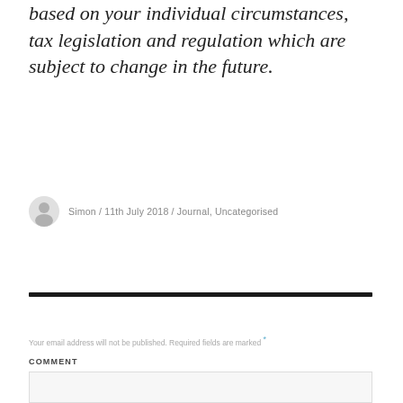based on your individual circumstances, tax legislation and regulation which are subject to change in the future.
Simon / 11th July 2018 / Journal, Uncategorised
Your email address will not be published. Required fields are marked *
COMMENT